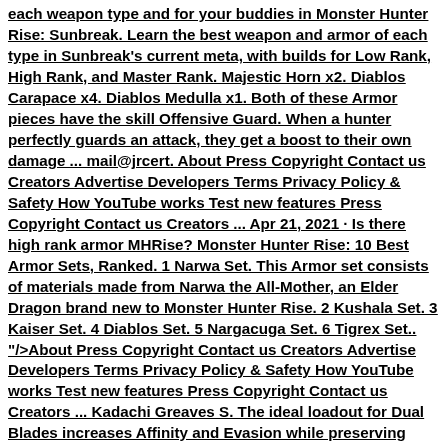each weapon type and for your buddies in Monster Hunter Rise: Sunbreak. Learn the best weapon and armor of each type in Sunbreak&#39;s current meta, with builds for Low Rank, High Rank, and Master Rank. Majestic Horn x2. Diablos Carapace x4. Diablos Medulla x1. Both of these Armor pieces have the skill Offensive Guard. When a hunter perfectly guards an attack, they get a boost to their own damage ... mail@jrcert. About Press Copyright Contact us Creators Advertise Developers Terms Privacy Policy & Safety How YouTube works Test new features Press Copyright Contact us Creators ... Apr 21, 2021 · Is there high rank armor MHRise? Monster Hunter Rise: 10 Best Armor Sets, Ranked. 1 Narwa Set. This Armor set consists of materials made from Narwa the All-Mother, an Elder Dragon brand new to Monster Hunter Rise. 2 Kushala Set. 3 Kaiser Set. 4 Diablos Set. 5 Nargacuga Set. 6 Tigrex Set.. "/>About Press Copyright Contact us Creators Advertise Developers Terms Privacy Policy & Safety How YouTube works Test new features Press Copyright Contact us Creators ... Kadachi Greaves S. The ideal loadout for Dual Blades increases Affinity and Evasion while preserving Stamina. Aelucanth armor increases elemental damage on crit, Nargacuga armor boosts evades, and ...Hey! I made this Sunbreak Skill Simulator/Builder with features like trending armor and comments. I hope it helps you enjoy the game better A new adventure awaits you in this second